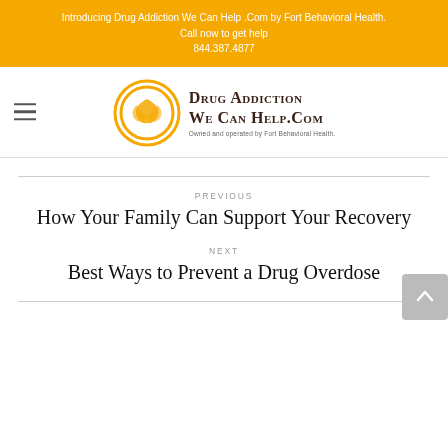Introducing Drug Addiction We Can Help .Com by Fort Behavioral Health.
Call now to get help
844.387.4877
[Figure (logo): Drug Addiction We Can Help.com logo with circular golden emblem and text. Owned and operated by Fort Behavioral Health.]
PREVIOUS
How Your Family Can Support Your Recovery
NEXT
Best Ways to Prevent a Drug Overdose